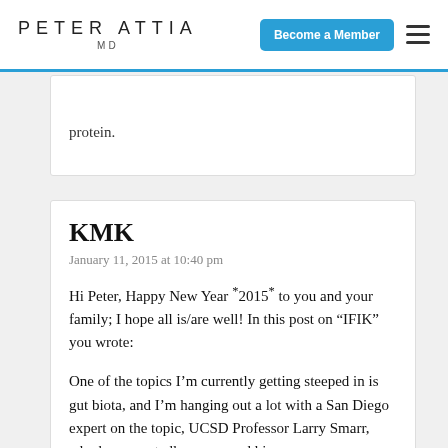PETER ATTIA MD — Become a Member
protein.
KMK
January 11, 2015 at 10:40 pm
Hi Peter, Happy New Year *2015* to you and your family; I hope all is/are well! In this post on “IFIK” you wrote:
One of the topics I’m currently getting steeped in is gut biota, and I’m hanging out a lot with a San Diego expert on the topic, UCSD Professor Larry Smarr, who has repeatedly sequenced his